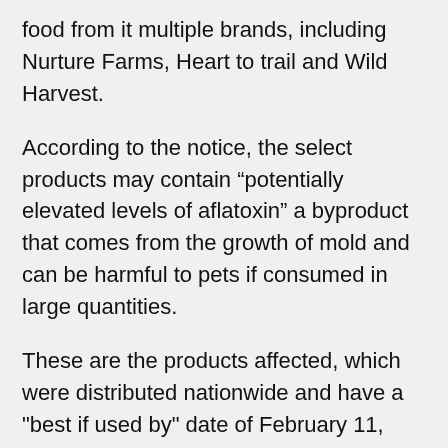food from it multiple brands, including Nurture Farms, Heart to trail and Wild Harvest.
According to the notice, the select products may contain “potentially elevated levels of aflatoxin” a byproduct that comes from the growth of mold and can be harmful to pets if consumed in large quantities.
These are the products affected, which were distributed nationwide and have a "best if used by" date of February 11, 2022:
Triumph Wild Spirit Craft Dog Food Deboned Chicken & Brown Rice Recipe (3.5 and 30